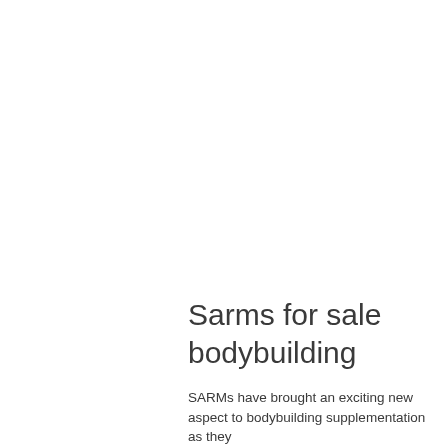Sarms for sale bodybuilding
SARMs have brought an exciting new aspect to bodybuilding supplementation as they